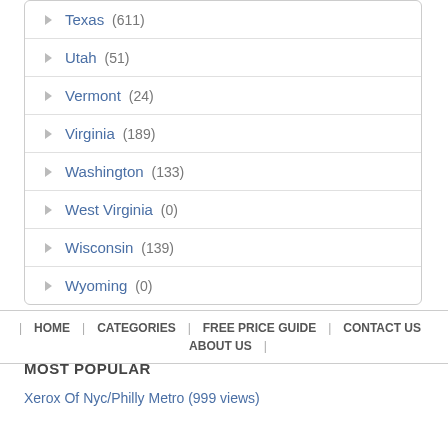Texas (611)
Utah (51)
Vermont (24)
Virginia (189)
Washington (133)
West Virginia (0)
Wisconsin (139)
Wyoming (0)
HOME | CATEGORIES | FREE PRICE GUIDE | CONTACT US | ABOUT US
MOST POPULAR
Xerox Of Nyc/Philly Metro (999 views)